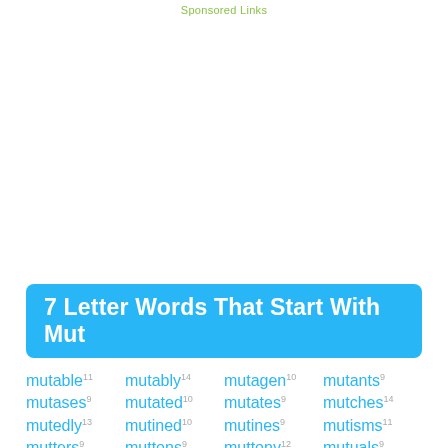Sponsored Links
7 Letter Words That Start With Mut
mutable 11
mutably 14
mutagen 10
mutants 9
mutases 9
mutated 10
mutates 9
mutches 14
mutedly 13
mutined 10
mutines 9
mutisms 11
mutters 9
muttons 9
muttony 12
mutuals 9